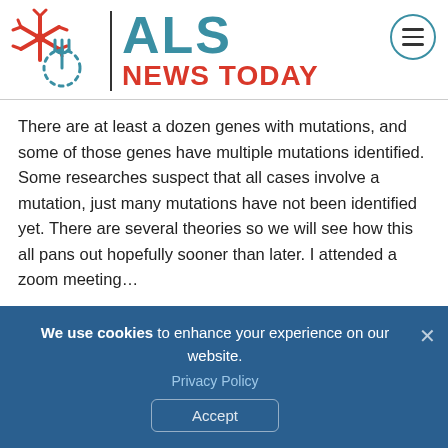[Figure (logo): ALS News Today website header with snowflake/neuron logo in red, site name 'ALS' in teal and 'NEWS TODAY' in red, and a hamburger menu icon in a teal circle on the right]
There are at least a dozen genes with mutations, and some of those genes have multiple mutations identified. Some researches suspect that all cases involve a mutation, just many mutations have not been identified yet. There are several theories so we will see how this all pans out hopefully sooner than later. I attended a zoom meeting…
[READ MORE]
Fran Finney replied to the topic Oh my COVID vaccine in the forum Coronavirus
We use cookies to enhance your experience on our website. Privacy Policy Accept